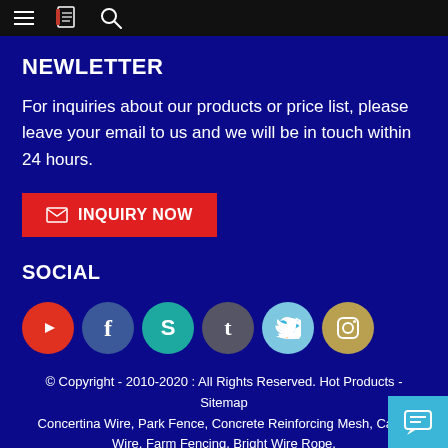Navigation bar with hamburger menu, notebook icon, and search icon
NEWLETTER
For inquiries about our products or price list, please leave your email to us and we will be in touch within 24 hours.
INQUIRY NOW
SOCIAL
[Figure (other): Row of 6 social media icon circles: YouTube (red), Facebook (blue), Skype (teal), Tumblr (dark gray), Twitter (light blue), Instagram (gold)]
© Copyright - 2010-2020 : All Rights Reserved. Hot Products - Sitemap
Concertina Wire, Park Fence, Concrete Reinforcing Mesh, Cable Wire, Farm Fencing, Bright Wire Rope,